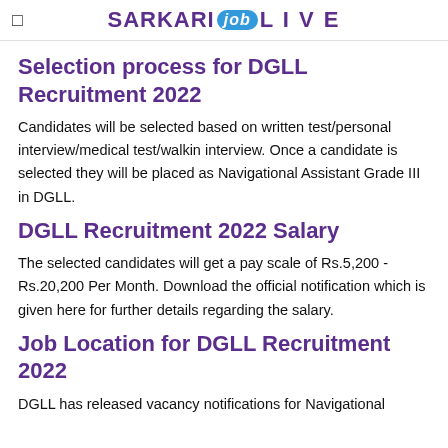SARKARI job LIVE
Selection process for DGLL Recruitment 2022
Candidates will be selected based on written test/personal interview/medical test/walkin interview. Once a candidate is selected they will be placed as Navigational Assistant Grade III in DGLL.
DGLL Recruitment 2022 Salary
The selected candidates will get a pay scale of Rs.5,200 - Rs.20,200 Per Month. Download the official notification which is given here for further details regarding the salary.
Job Location for DGLL Recruitment 2022
DGLL has released vacancy notifications for Navigational